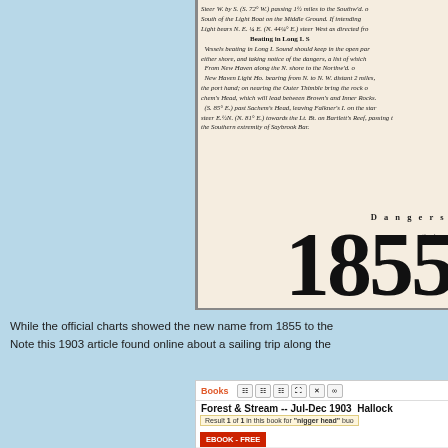[Figure (screenshot): Scanned page from an 1855 nautical document showing sailing directions for Long Island Sound, with italic text describing navigation instructions. Large bold '1855' year number visible at bottom right of the document image.]
While the official charts showed the new name from 1855 to the Note this 1903 article found online about a sailing trip along the
[Figure (screenshot): Screenshot of Google Books interface showing 'Forest & Stream -- Jul-Dec 1903 Hallock' with a search result highlighted for 'nigger head' buoy, and an EBOOK - FREE button. Partial text visible of sailing article.]